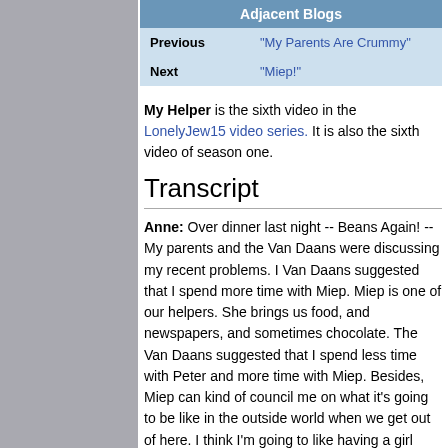| Adjacent Blogs |
| --- |
| Previous | "My Parents Are Crummy" |
| Next | "Miep!" |
My Helper is the sixth video in the LonelyJew15 video series. It is also the sixth video of season one.
Transcript
Anne: Over dinner last night -- Beans Again! -- My parents and the Van Daans were discussing my recent problems. I Van Daans suggested that I spend more time with Miep. Miep is one of our helpers. She brings us food, and newspapers, and sometimes chocolate. The Van Daans suggested that I spend less time with Peter and more time with Miep. Besides, Miep can kind of council me on what it's going to be like in the outside world when we get out of here. I think I'm going to like having a girl friend. Usually I get along better with boys, I don't know why. The only girl I've